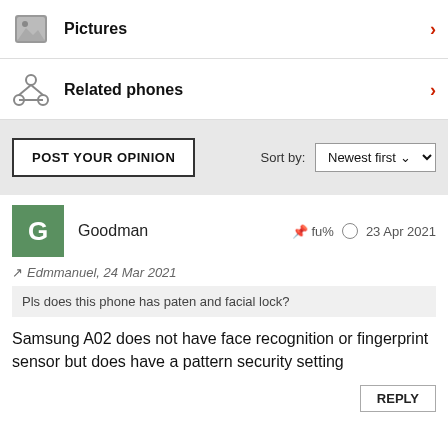Pictures
Related phones
POST YOUR OPINION   Sort by: Newest first
Goodman   fu%   23 Apr 2021
Edmmanuel, 24 Mar 2021
Pls does this phone has paten and facial lock?
Samsung A02 does not have face recognition or fingerprint sensor but does have a pattern security setting